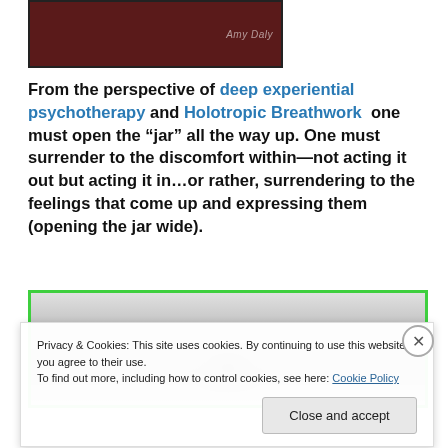[Figure (photo): Partial image at top, dark reddish background with a signature in white]
From the perspective of deep experiential psychotherapy and Holotropic Breathwork one must open the “jar” all the way up. One must surrender to the discomfort within—not acting it out but acting it in…or rather, surrendering to the feelings that come up and expressing them (opening the jar wide).
[Figure (photo): Grayscale photo partially visible, with green border frame]
Privacy & Cookies: This site uses cookies. By continuing to use this website, you agree to their use.
To find out more, including how to control cookies, see here: Cookie Policy
Close and accept